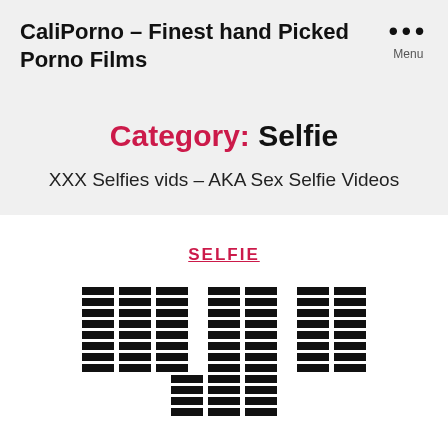CaliPorno – Finest hand Picked Porno Films
Category: Selfie
XXX Selfies vids – AKA Sex Selfie Videos
SELFIE
[Figure (other): Redacted/blurred thumbnail grid of video content]